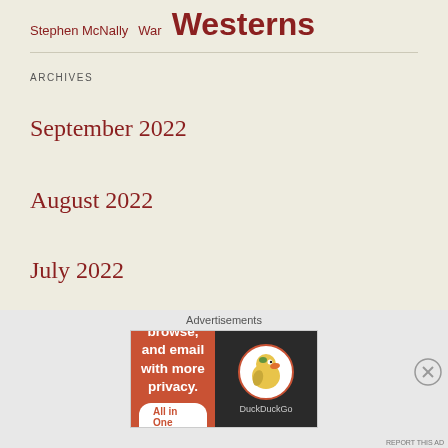Stephen McNally  War  Westerns
ARCHIVES
September 2022
August 2022
July 2022
June 2022
May 2022
[Figure (other): DuckDuckGo advertisement banner: orange left panel with text 'Search, browse, and email with more privacy. All in One Free App', dark right panel with DuckDuckGo duck logo and brand name]
Advertisements